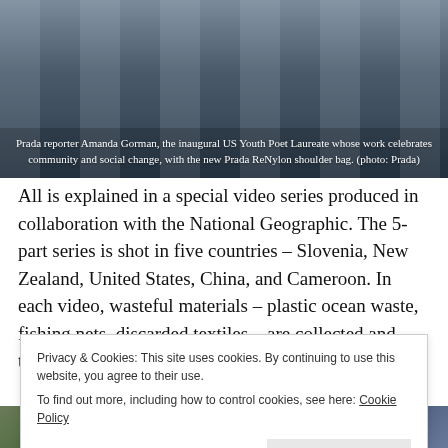[Figure (photo): Photo of Prada reporter Amanda Gorman, the inaugural US Youth Poet Laureate, standing in front of large circular spools/reels, wearing a shoulder bag]
Prada reporter Amanda Gorman, the inaugural US Youth Poet Laureate whose work celebrates community and social change, with the new Prada ReNylon shoulder bag. (photo: Prada)
All is explained in a special video series produced in collaboration with the National Geographic. The 5-part series is shot in five countries – Slovenia, New Zealand, United States, China, and Cameroon. In each video, wasteful materials – plastic ocean waste, fishing nets, discarded textiles – are collected and transformed into ECONYL®.
Privacy & Cookies: This site uses cookies. By continuing to use this website, you agree to their use.
To find out more, including how to control cookies, see here: Cookie Policy
[Figure (photo): Two thumbnail photos at the bottom of the page — left shows a colorful outdoor scene, right shows a blue-toned outdoor scene]